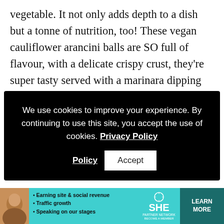vegetable. It not only adds depth to a dish but a tonne of nutrition, too! These vegan cauliflower arancini balls are SO full of flavour, with a delicate crispy crust, they’re super tasty served with a marinara dipping sauce.
We use cookies to improve your experience. By continuing to use this site, you accept the use of cookies. Privacy Policy
Accept
[Figure (photo): Food photo showing crispy breaded cauliflower arancini balls in a dark bowl, garnished with fresh basil leaves, on a wooden surface]
[Figure (infographic): Advertisement banner for SHE Partner Network with teal background, featuring a woman, bullet points: Earning site & social revenue, Traffic growth, Speaking on our stages. SHE logo and LEARN MORE button.]